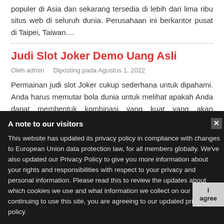populer di Asia dan sekarang tersedia di lebih dari lima ribu situs web di seluruh dunia. Perusahaan ini berkantor pusat di Taipei, Taiwan....
Judi Slot Joker Demo Uang Asli
Oleh admin   Diposting pada Agustus 1, 2022
Permainan judi slot Joker cukup sederhana untuk dipahami. Anda harus memutar bola dunia untuk melihat apakah Anda dapat membentuk kombinasi yang kuat yang akan menghasilkan pembayaran. Sebagai pemula, Anda harus menghindari melekat pada satu mesin judi setelah menang. Membangkitkan kombinasi pada mesin judi membutuhkan waktu, uang, dan... Jadi, pastikan untuk memutar bola dunia setiap beberapa menit untuk memastikan pembayaran yang lebih cepat. Jackpot dari game ini juga beroperasi tergantung di mana Anda bermain. Permainan slot joker mudah dimainkan dan cocok untuk pendatang baru maupun yang sudah berpengalaman. Pemula dapat memilih untuk bermain game untuk bersenang-senang atau untuk uang sungguhan. Hal yang paling sering permainan joker adalah ia menawarkan grafik yang sangat baik dan telah melakukan beberapa iterasi ini menjadikannya pilihan populer di kalangan gamer berpengalaman dan juga pemula. Anda dapat berlatih permainan bonus tanpa mempertaruhkan uang Anda sendiri.
A note to our visitors

This website has updated its privacy policy in compliance with changes to European Union data protection law, for all members globally. We've also updated our Privacy Policy to give you more information about your rights and responsibilities with respect to your privacy and personal information. Please read this to review the updates about which cookies we use and what information we collect on our site. By continuing to use this site, you are agreeing to our updated privacy policy.